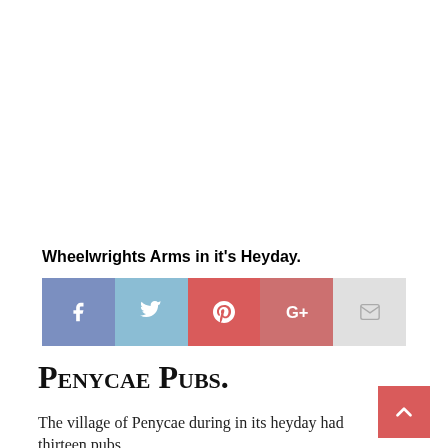Wheelwrights Arms in it's Heyday.
[Figure (other): Social share bar with Facebook, Twitter, Pinterest, Google+, and Email buttons]
Penycae Pubs.
The village of Penycae during in its heyday had thirteen pubs